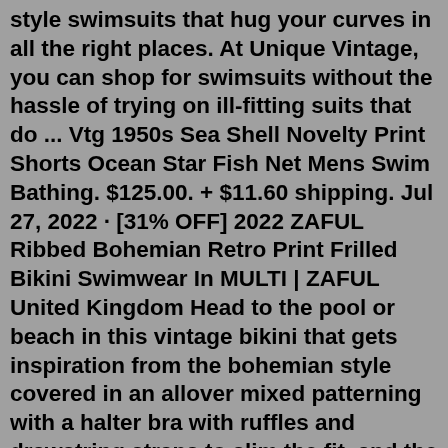style swimsuits that hug your curves in all the right places. At Unique Vintage, you can shop for swimsuits without the hassle of trying on ill-fitting suits that do ... Vtg 1950s Sea Shell Novelty Print Shorts Ocean Star Fish Net Mens Swim Bathing. $125.00. + $11.60 shipping. Jul 27, 2022 · [31% OFF] 2022 ZAFUL Ribbed Bohemian Retro Print Frilled Bikini Swimwear In MULTI | ZAFUL United Kingdom Head to the pool or beach in this vintage bikini that gets inspiration from the bohemian style covered in an allover mixed patterning with a halter bra with ruffles and drawstring straps to slim the fit, and the matching string bottom is fashioned with double straps at both sides. Style ... Material Polyester Pattern Print Size S,M,L,XL Colour Picture. Description SPU: WSW72703 Material: Polyester Pattern Type: Print Style: Retro/Casual Elasticity: High elasticity Fit: Slim *The item does not include any accessories in the picture, unless stated otherwise in the product description. Dashiki Swimwear Women's Monokini Shop Target for women's